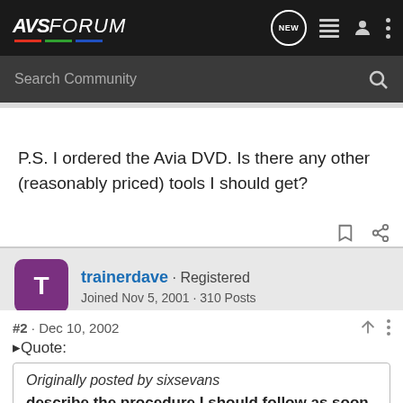AVSForum — Navigation bar with search
P.S. I ordered the Avia DVD. Is there any other (reasonably priced) tools I should get?
trainerdave · Registered
Joined Nov 5, 2001 · 310 Posts
#2 · Dec 10, 2002
Quote:
Originally posted by sixsevans
describe the procedure I should follow as soon as I